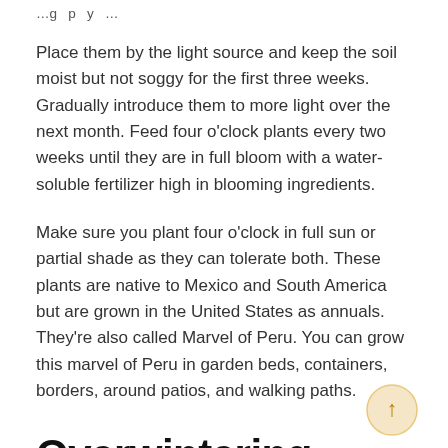…g … p … y …
Place them by the light source and keep the soil moist but not soggy for the first three weeks. Gradually introduce them to more light over the next month. Feed four o'clock plants every two weeks until they are in full bloom with a water-soluble fertilizer high in blooming ingredients.
Make sure you plant four o'clock in full sun or partial shade as they can tolerate both. These plants are native to Mexico and South America but are grown in the United States as annuals. They're also called Marvel of Peru. You can grow this marvel of Peru in garden beds, containers, borders, around patios, and walking paths.
Overwintering
After your plant is done blooming in the fall, cut the stalk